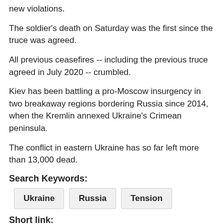new violations.
The soldier's death on Saturday was the first since the truce was agreed.
All previous ceasefires -- including the previous truce agreed in July 2020 -- crumbled.
Kiev has been battling a pro-Moscow insurgency in two breakaway regions bordering Russia since 2014, when the Kremlin annexed Ukraine's Crimean peninsula.
The conflict in eastern Ukraine has so far left more than 13,000 dead.
Search Keywords:
Ukraine
Russia
Tension
Short link:
https://english.ahram.org.eg/News/454442.aspx